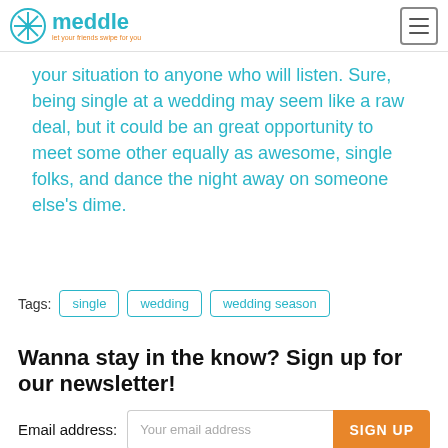meddle — let your friends swipe for you
your situation to anyone who will listen. Sure, being single at a wedding may seem like a raw deal, but it could be an great opportunity to meet some other equally as awesome, single folks, and dance the night away on someone else's dime.
Tags: single   wedding   wedding season
Wanna stay in the know? Sign up for our newsletter!
Email address: Your email address  SIGN UP